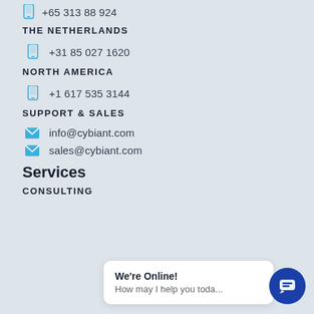+65 313 88 924
THE NETHERLANDS
+31 85 027 1620
NORTH AMERICA
+1 617 535 3144
SUPPORT & SALES
info@cybiant.com
sales@cybiant.com
Services
We're Online!
How may I help you toda...
CONSULTING